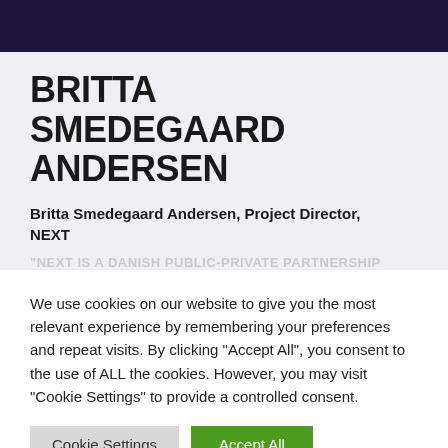BRITTA SMEDEGAARD ANDERSEN
Britta Smedegaard Andersen, Project Director, NEXT
“NEXT IS A DANISH PUBLIC-PRIVATE PARTNERSHIP
We use cookies on our website to give you the most relevant experience by remembering your preferences and repeat visits. By clicking “Accept All”, you consent to the use of ALL the cookies. However, you may visit "Cookie Settings" to provide a controlled consent.
Cookie Settings | Accept All